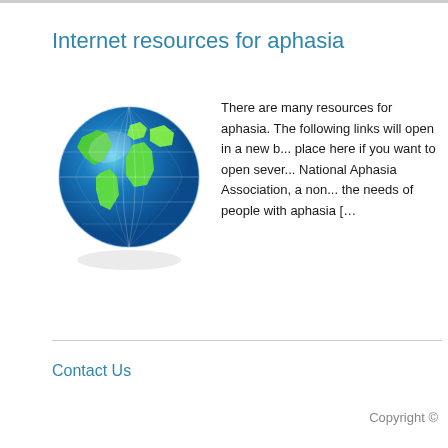Internet resources for aphasia
[Figure (illustration): 3D globe icon showing Earth with green continents and blue oceans, with latitude/longitude grid lines visible]
There are many resources for aphasia. The following links will open in a new browser place here if you want to open several. National Aphasia Association, a non... the needs of people with aphasia [...
Contact Us
Copyright ©